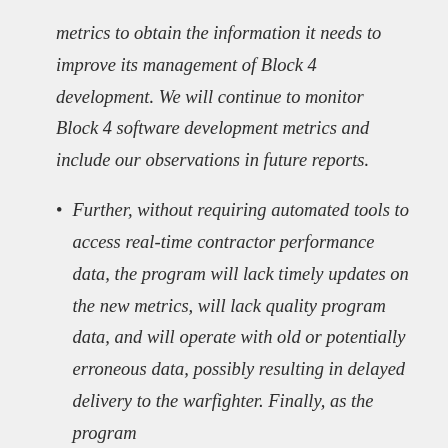metrics to obtain the information it needs to improve its management of Block 4 development. We will continue to monitor Block 4 software development metrics and include our observations in future reports.
Further, without requiring automated tools to access real-time contractor performance data, the program will lack timely updates on the new metrics, will lack quality program data, and will operate with old or potentially erroneous data, possibly resulting in delayed delivery to the warfighter. Finally, as the program